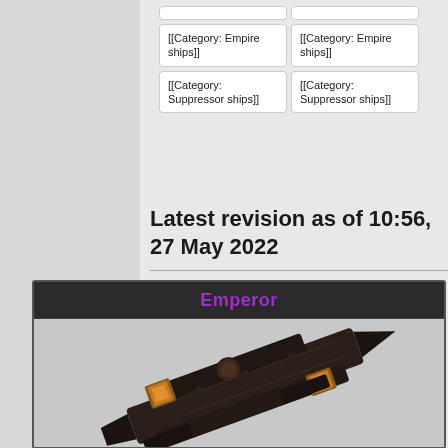| [[Category: Empire ships]] | [[Category: Empire ships]] |
| [[Category: Suppressor ships]] | [[Category: Suppressor ships]] |
Latest revision as of 10:56, 27 May 2022
[Figure (other): Emperor class spaceship miniature model, dark colored, photographed at an angle showing the elongated hull with details]
Emperor